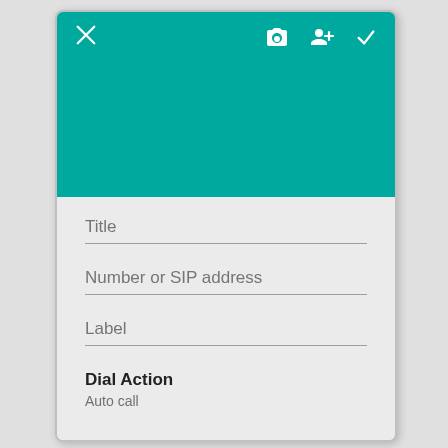[Figure (screenshot): Android mobile app screenshot showing a contact creation/edit form with a teal header bar containing X (close), camera, add-person, and checkmark icons. Below the header is a light gray form area with input fields for Title, Number or SIP address, and Label, followed by a Dial Action section showing Auto call as the selected option.]
Title
Number or SIP address
Label
Dial Action
Auto call